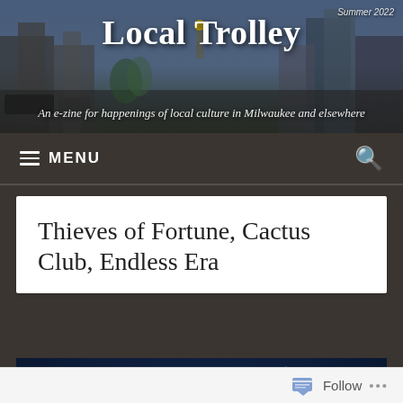[Figure (photo): Website header banner with city street photo background, titled 'Local Trolley']
Local Trolley
An e-zine for happenings of local culture in Milwaukee and elsewhere
MENU
Thieves of Fortune, Cactus Club, Endless Era
[Figure (photo): Concert/band promotional image with pink heart graphic and text 'October 11, 2019', 'Thieves of Fortune', 'MINE']
Follow ...